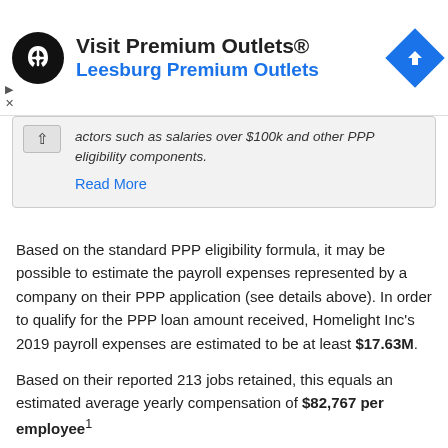[Figure (advertisement): Premium Outlets advertisement banner with black circular logo, 'Visit Premium Outlets®' title, 'Leesburg Premium Outlets' subtitle in blue, and a blue diamond navigation icon.]
actors such as salaries over $100k and other PPP eligibility components.
Read More
Based on the standard PPP eligibility formula, it may be possible to estimate the payroll expenses represented by a company on their PPP application (see details above). In order to qualify for the PPP loan amount received, Homelight Inc's 2019 payroll expenses are estimated to be at least $17.63M.
Based on their reported 213 jobs retained, this equals an estimated average yearly compensation of $82,767 per employee¹
Reported PPP Proceed Usage: